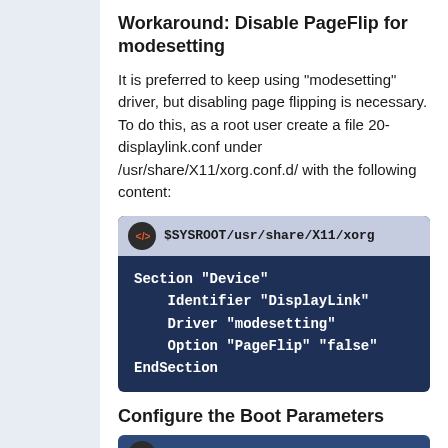Workaround: Disable PageFlip for modesetting
It is preferred to keep using "modesetting" driver, but disabling page flipping is necessary. To do this, as a root user create a file 20-displaylink.conf under /usr/share/X11/xorg.conf.d/ with the following content:
[Figure (screenshot): Code block showing xorg config file path $SYSROOT/usr/share/X11/xorg... with content: Section "Device" Identifier "DisplayLink" Driver "modesetting" Option "PageFlip" "false" EndSection]
Configure the Boot Parameters
[Figure (screenshot): Start of another code block (partially visible at bottom)]